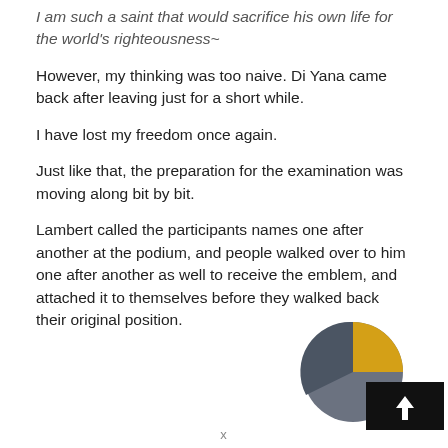I am such a saint that would sacrifice his own life for the world's righteousness~
However, my thinking was too naive. Di Yana came back after leaving just for a short while.
I have lost my freedom once again.
Just like that, the preparation for the examination was moving along bit by bit.
Lambert called the participants names one after another at the podium, and people walked over to him one after another as well to receive the emblem, and attached it to themselves before they walked back their original position.
[Figure (illustration): A circular emblem/badge with dark grey and golden yellow sections, partially overlapping a black square with an upward arrow icon]
x